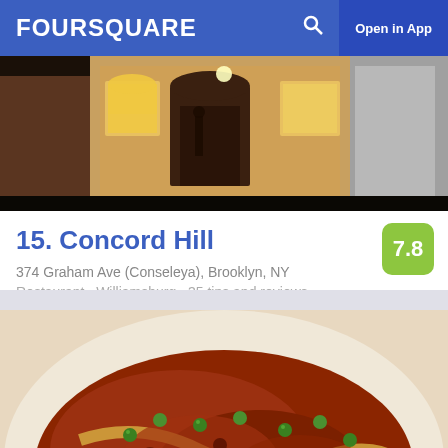FOURSQUARE  Open in App
[Figure (photo): Exterior photo of a restaurant storefront at night, showing large windows with warm interior lighting, arched details, and a dimly lit facade]
15. Concord Hill
374 Graham Ave (Conseleya), Brooklyn, NY
Restaurant · Williamsburg · 35 tips and reviews
[Figure (photo): Close-up photo of a pasta dish — pappardelle with meat bolognese sauce and green peas, served on a white plate]
16. Il Passatore